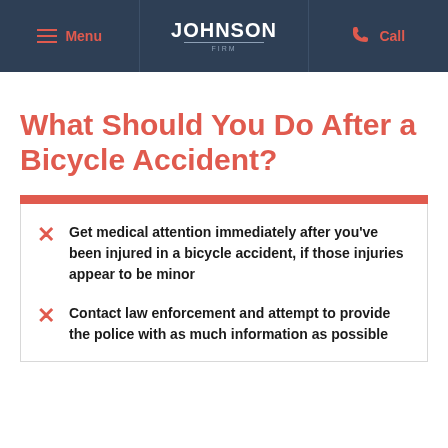Menu | JOHNSON FIRM | Call
What Should You Do After a Bicycle Accident?
Get medical attention immediately after you've been injured in a bicycle accident, if those injuries appear to be minor
Contact law enforcement and attempt to provide the police with as much information as possible